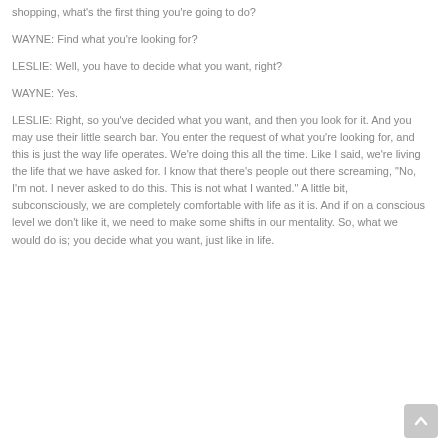shopping, what's the first thing you're going to do?
WAYNE: Find what you're looking for?
LESLIE: Well, you have to decide what you want, right?
WAYNE: Yes.
LESLIE: Right, so you've decided what you want, and then you look for it. And you may use their little search bar. You enter the request of what you're looking for, and this is just the way life operates. We're doing this all the time. Like I said, we're living the life that we have asked for. I know that there's people out there screaming, "No, I'm not. I never asked to do this. This is not what I wanted." A little bit, subconsciously, we are completely comfortable with life as it is. And if on a conscious level we don't like it, we need to make some shifts in our mentality. So, what we would do is; you decide what you want, just like in life.